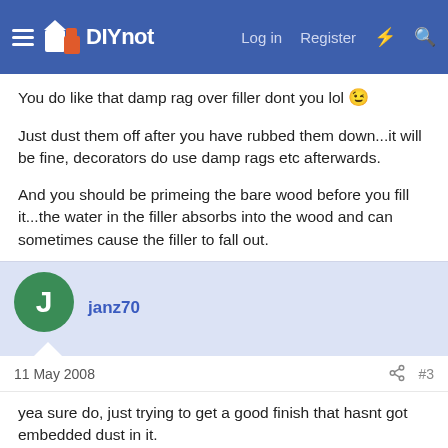DIYnot - Log in - Register
You do like that damp rag over filler dont you lol 😉
Just dust them off after you have rubbed them down...it will be fine, decorators do use damp rags etc afterwards.
And you should be primeing the bare wood before you fill it...the water in the filler absorbs into the wood and can sometimes cause the filler to fall out.
janz70
11 May 2008
yea sure do, just trying to get a good finish that hasnt got embedded dust in it.
so just sand brush of and paint straight over the top - I'll give it a go but sounds like my finish will be poor is full of dust particles